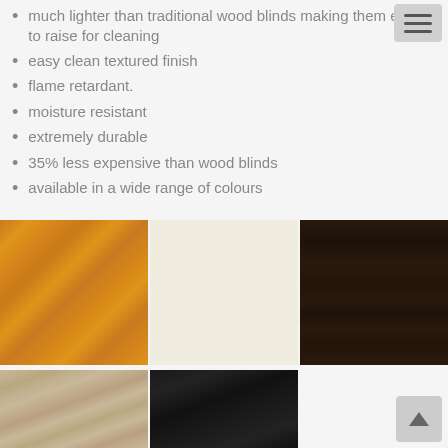much lighter than traditional wood blinds making them easier to raise for cleaning
easy clean textured finish
flame retardant.
moisture resistant
extremely durable
35% less expensive than wood blinds
available in a wide range of colours
[Figure (photo): Three colour swatches side by side: left is medium oak wood grain texture, centre is cream/off-white smooth finish, right is dark espresso wood grain texture]
[Figure (photo): Three colour swatches side by side: left is light blonde/grey wood grain texture, centre is matte black, right is white/blank]